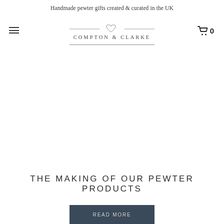Handmade pewter gifts created & curated in the UK
[Figure (logo): Compton & Clarke logo with heart symbol and horizontal lines, underlined]
THE MAKING OF OUR PEWTER PRODUCTS
READ MORE